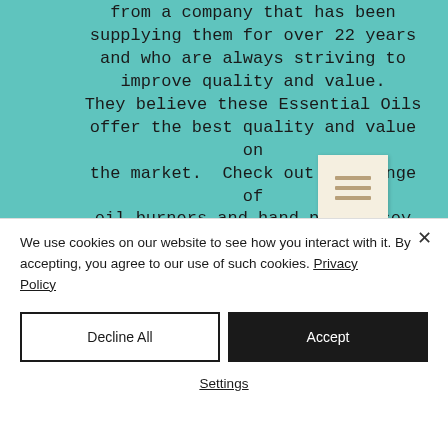from a company that has been supplying them for over 22 years and who are always striving to improve quality and value. They believe these Essential Oils offer the best quality and value on the market. Check out our range of oil burners and hand poured soy wax melts.
[Figure (other): Hamburger menu icon — three horizontal lines on a light beige background]
We use cookies on our website to see how you interact with it. By accepting, you agree to our use of such cookies. Privacy Policy
Decline All
Accept
Settings